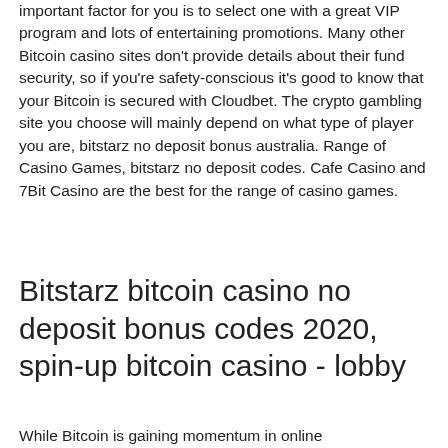important factor for you is to select one with a great VIP program and lots of entertaining promotions. Many other Bitcoin casino sites don't provide details about their fund security, so if you're safety-conscious it's good to know that your Bitcoin is secured with Cloudbet. The crypto gambling site you choose will mainly depend on what type of player you are, bitstarz no deposit bonus australia. Range of Casino Games, bitstarz no deposit codes. Cafe Casino and 7Bit Casino are the best for the range of casino games.
Bitstarz bitcoin casino no deposit bonus codes 2020, spin-up bitcoin casino - lobby
While Bitcoin is gaining momentum in online